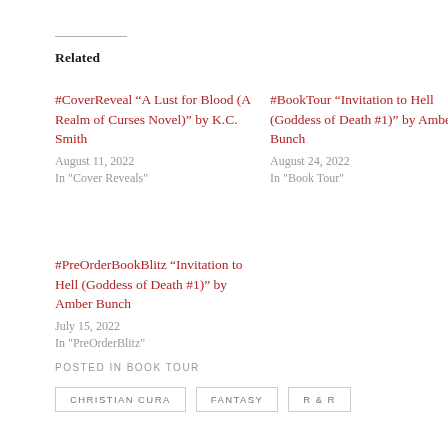Related
#CoverReveal “A Lust for Blood (A Realm of Curses Novel)” by K.C. Smith
August 11, 2022
In "Cover Reveals"
#BookTour “Invitation to Hell (Goddess of Death #1)” by Amber Bunch
August 24, 2022
In "Book Tour"
#PreOrderBookBlitz “Invitation to Hell (Goddess of Death #1)” by Amber Bunch
July 15, 2022
In "PreOrderBlitz"
POSTED IN BOOK TOUR
CHRISTIAN CURA   FANTASY   R & R